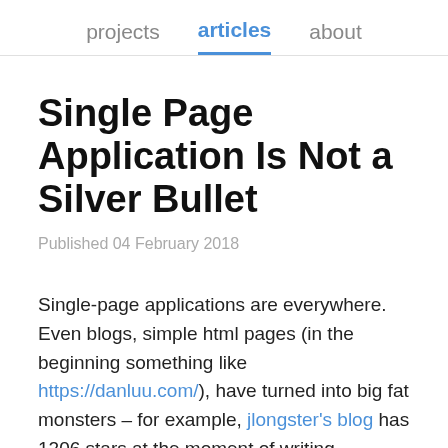projects   articles   about
Single Page Application Is Not a Silver Bullet
Published 04 February 2018
Single-page applications are everywhere. Even blogs, simple html pages (in the beginning something like https://danluu.com/), have turned into big fat monsters – for example, jlongster's blog has 1206 stars at the moment of writing.